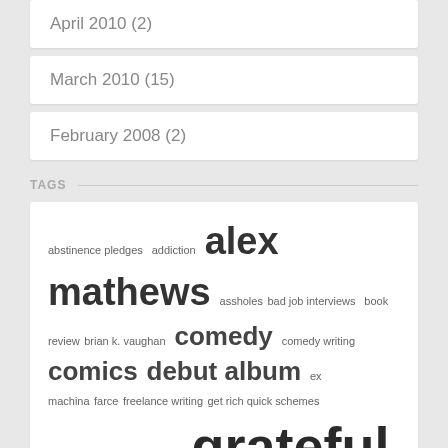April 2010 (2)
March 2010 (15)
February 2008 (2)
TAGS
abstinence pledges addiction alex mathews assholes bad job interviews book review brian k. vaughan comedy comedy writing comics debut album ex machina farce freelance writing get rich quick schemes GOP graphic novels grateful dead hollywood jock hollywood memoirs humor internet scum job interviews memoir memoirs michael ciriaco mueller